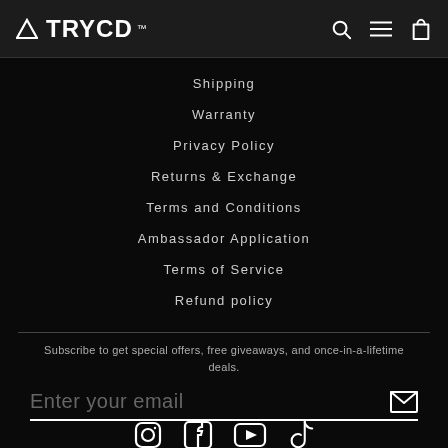TRYCD™ — navigation bar with search, menu, and cart icons
Shipping
Warranty
Privacy Policy
Returns & Exchange
Terms and Conditions
Ambassador Application
Terms of Service
Refund policy
Subscribe to get special offers, free giveaways, and once-in-a-lifetime deals.
Enter your email
[Figure (infographic): Social media icons: Instagram, Facebook, YouTube, TikTok]